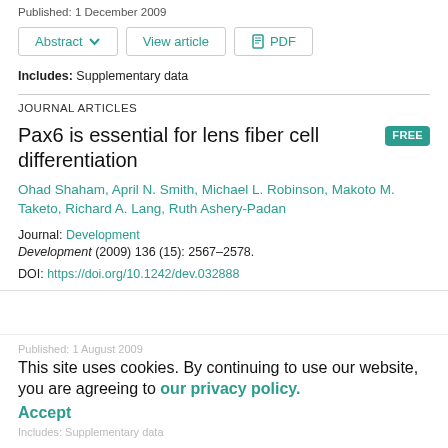Published: 1 December 2009
Abstract ∨   View article   PDF
Includes: Supplementary data
JOURNAL ARTICLES
Pax6 is essential for lens fiber cell differentiation
Ohad Shaham, April N. Smith, Michael L. Robinson, Makoto M. Taketo, Richard A. Lang, Ruth Ashery-Padan
Journal: Development
Development (2009) 136 (15): 2567–2578.
DOI: https://doi.org/10.1242/dev.032888
This site uses cookies. By continuing to use our website, you are agreeing to our privacy policy. Accept